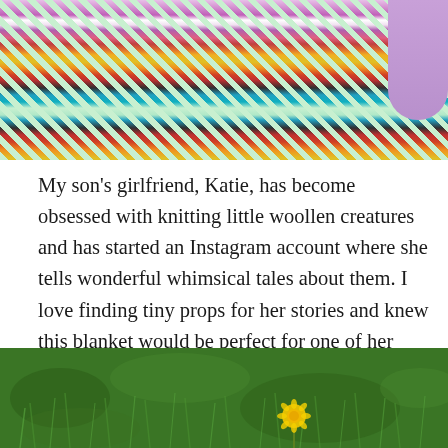[Figure (photo): Close-up photo of a colorful crocheted granny square blanket with multicolored stripes (purple, white, pink, red, orange, yellow, black, teal) bordered in mint green, with a purple crochet hook visible at top right.]
My son's girlfriend, Katie, has become obsessed with knitting little woollen creatures and has started an Instagram account where she tells wonderful whimsical tales about them. I love finding tiny props for her stories and knew this blanket would be perfect for one of her enchanting posts. Check out Beaniknitz to find out what happens at Moley and Lavender Mouse's picnic!
[Figure (photo): Photo of green grass with a small yellow dandelion flower visible in the lower right area.]